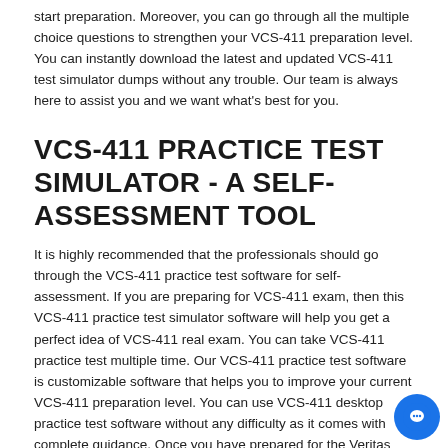start preparation. Moreover, you can go through all the multiple choice questions to strengthen your VCS-411 preparation level. You can instantly download the latest and updated VCS-411 test simulator dumps without any trouble. Our team is always here to assist you and we want what's best for you.
VCS-411 PRACTICE TEST SIMULATOR - A SELF-ASSESSMENT TOOL
It is highly recommended that the professionals should go through the VCS-411 practice test software for self-assessment. If you are preparing for VCS-411 exam, then this VCS-411 practice test simulator software will help you get a perfect idea of VCS-411 real exam. You can take VCS-411 practice test multiple time. Our VCS-411 practice test software is customizable software that helps you to improve your current VCS-411 preparation level. You can use VCS-411 desktop practice test software without any difficulty as it comes with complete guidance. Once you have prepared for the Veritas VCS-411 exam questions, then you should